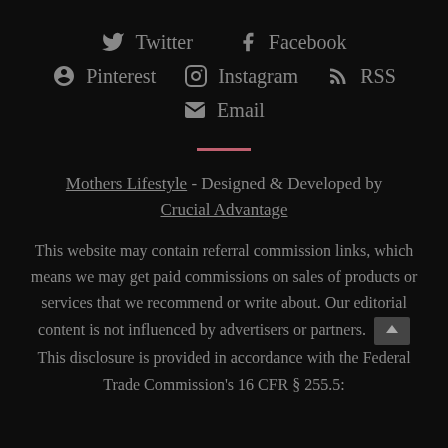Twitter
Facebook
Pinterest
Instagram
RSS
Email
Mothers Lifestyle - Designed & Developed by Crucial Advantage
This website may contain referral commission links, which means we may get paid commissions on sales of products or services that we recommend or write about. Our editorial content is not influenced by advertisers or partners. This disclosure is provided in accordance with the Federal Trade Commission's 16 CFR § 255.5: